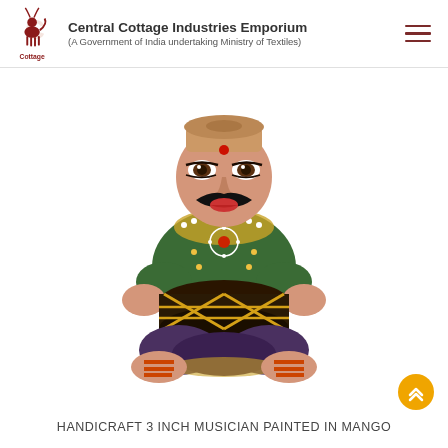Central Cottage Industries Emporium (A Government of India undertaking Ministry of Textiles)
[Figure (photo): A painted wooden handicraft figurine of a seated musician with a dark mustache, wearing a green decorated outfit, playing a tabla/drum. The figurine is painted in mango wood style with traditional Rajasthani colors.]
HANDICRAFT 3 INCH MUSICIAN PAINTED IN MANGO